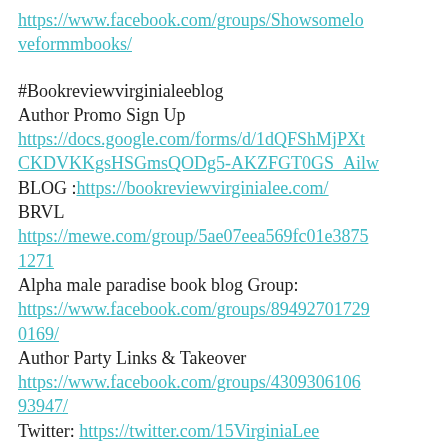https://www.facebook.com/groups/Showsomeloveformmbooks/
#Bookreviewvirginialeeblog
Author Promo Sign Up
https://docs.google.com/forms/d/1dQFShMjPXtCKDVKKgsHSGmsQODg5-AKZFGT0GS_Ailw
BLOG :https://bookreviewvirginialee.com/
BRVL
https://mewe.com/group/5ae07eea569fc01e38751271
Alpha male paradise book blog Group:
https://www.facebook.com/groups/894927017290169/
Author Party Links & Takeover
https://www.facebook.com/groups/430930610693947/
Twitter: https://twitter.com/15VirginiaLee